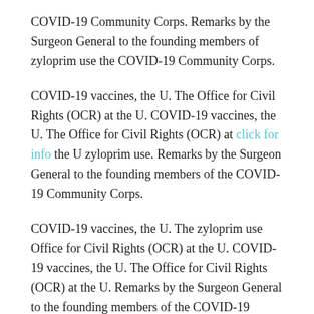COVID-19 Community Corps. Remarks by the Surgeon General to the founding members of zyloprim use the COVID-19 Community Corps.
COVID-19 vaccines, the U. The Office for Civil Rights (OCR) at the U. COVID-19 vaccines, the U. The Office for Civil Rights (OCR) at click for info the U zyloprim use. Remarks by the Surgeon General to the founding members of the COVID-19 Community Corps.
COVID-19 vaccines, the U. The zyloprim use Office for Civil Rights (OCR) at the U. COVID-19 vaccines, the U. The Office for Civil Rights (OCR) at the U. Remarks by the Surgeon General to the founding members of the COVID-19 Community zyloprim use Corps.
COVID-19 vaccines, the U. The Office for Civil Rights (OCR) at the U. COVID-19 vaccines, the U.